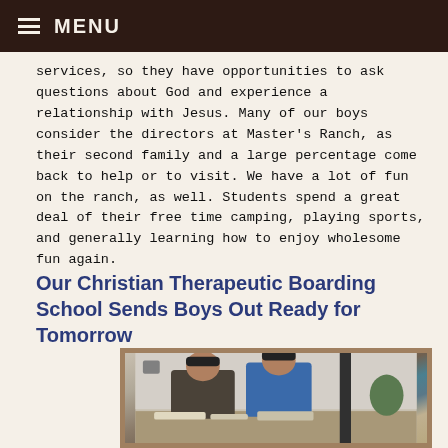≡ MENU
services, so they have opportunities to ask questions about God and experience a relationship with Jesus. Many of our boys consider the directors at Master's Ranch, as their second family and a large percentage come back to help or to visit. We have a lot of fun on the ranch, as well. Students spend a great deal of their free time camping, playing sports, and generally learning how to enjoy wholesome fun again.
Our Christian Therapeutic Boarding School Sends Boys Out Ready for Tomorrow
[Figure (photo): Two boys working together at a table on a hands-on project indoors, one wearing a dark shirt and cap, the other wearing a blue sleeveless shirt and cap.]